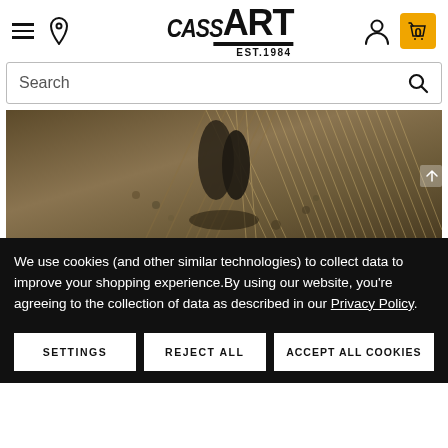Cass Art EST.1984 - Navigation bar with hamburger menu, location icon, user icon, and cart (0)
Search
[Figure (photo): Close-up photograph of boots or feet on textured ground with straw/hay, dark brown and tan tones]
We use cookies (and other similar technologies) to collect data to improve your shopping experience.By using our website, you're agreeing to the collection of data as described in our Privacy Policy.
SETTINGS
REJECT ALL
ACCEPT ALL COOKIES